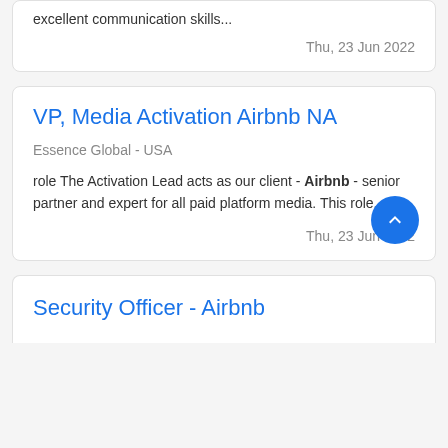excellent communication skills...
Thu, 23 Jun 2022
VP, Media Activation Airbnb NA
Essence Global - USA
role The Activation Lead acts as our client - Airbnb - senior partner and expert for all paid platform media. This role...
Thu, 23 Jun 2022
Security Officer - Airbnb